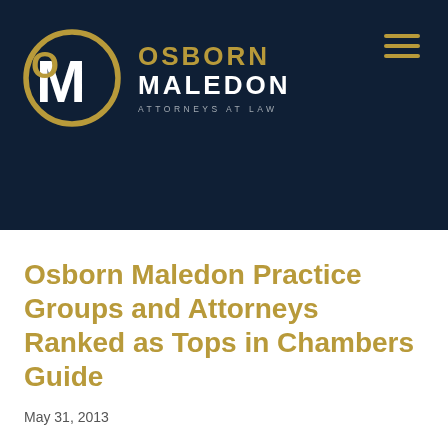[Figure (logo): Osborn Maledon law firm header with circular OM logo mark, firm name in gold and white with tagline ATTORNEYS AT LAW on dark navy background, and hamburger menu icon in gold on right]
Osborn Maledon Practice Groups and Attorneys Ranked as Tops in Chambers Guide
May 31, 2013